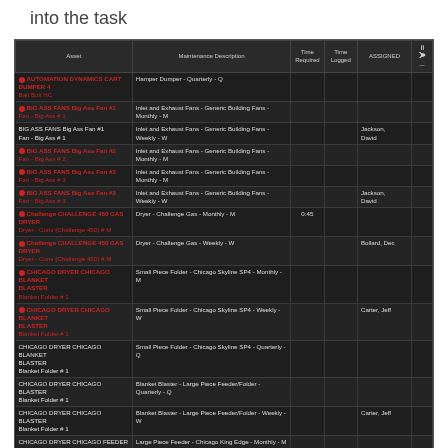into the task
| Asset | Maintenance Description | Time Required | Time Logged | ASSIGNED |  |
| --- | --- | --- | --- | --- | --- |
| AUTOMATION DYNAMICS CART DUMPER 4 Balt Bolt HC | Hamper Dumper - Quarterly - Q |  |  |  |  |
| BIG ASS FANS Big Ass Fan #1 Fan - Big Ass # 1 | Inlet and Exhaust Fans - Generic Building Fans - Monthly - M |  |  |  |  |
| BIG ASS FANS Big Ass Fan #1 Fan - Big Ass # 1 | Inlet and Exhaust Fans - Generic Building Fans - Weekly - W |  |  | Jackson, David |  |
| BIG ASS FANS Big Ass Fan #2 Fan - Big Ass # 2 | Inlet and Exhaust Fans - Generic Building Fans - Monthly - M |  |  |  |  |
| BIG ASS FANS Big Ass Fan #3 Fan - Big Ass # 3 | Inlet and Exhaust Fans - Generic Building Fans - Monthly - M |  |  |  |  |
| BIG ASS FANS Big Ass Fan #3 Fan - Big Ass # 3 | Inlet and Exhaust Fans - Generic Building Fans - Weekly - W |  |  | Jackson, David |  |
| Challenge CHALLENGE 450 GAS DRYER Dryer - Conv (Challenge 450) # M | Dryer - Challenge Gas - Monthly - M | 0:45 |  |  |  |
| Challenge CHALLENGE 450 GAS DRYER Dryer - Conv (Challenge 450) # M | Dryer - Challenge Gas - Weekly - W |  |  | Bollard, Dec |  |
| CHICAGO DRYER CHICAGO BLANKET BLASTER Blanket Folder # 1 | Small Piece Folder - Chicago Skyline SP4 - Monthly - M |  |  |  |  |
| CHICAGO DRYER CHICAGO BLANKET BLASTER Blanket Folder # 1 | Small Piece Folder - Chicago Skyline SP4 - Weekly - W |  |  | Carter, Jeff |  |
| CHICAGO DRYER CHICAGO BLANKET BLASTER Blanket Folder # 1 | Small Piece Folder - Chicago Skyline SP4 - Quarterly - Q |  |  |  |  |
| CHICAGO DRYER CHICAGO BLASTER Blanket Folder # 1 | Blanket Blaster - Large Piece Feeder/Folder - Quarterly - Q |  |  |  |  |
| CHICAGO DRYER CHICAGO BLASTER Blanket Folder # 1 | Blanket Blaster - Large Piece Feeder/Folder - Weekly - W |  |  | Carter, Jeff |  |
| CHICAGO DRYER CHICAGO FEEDER Ironer - Large (2 Lanes) # 2 | Large Piece Feeder - Chicago King Edge - Monthly - M |  |  |  |  |
| CHICAGO DRYER CHICAGO FEEDER ... | Large Piece Feeder - Chicago King Edge - Weekly - W |  |  | Carter, Jeff |  |
Equipment Alerts by Lane
The Displays provide Production and Maintenance alerts by...